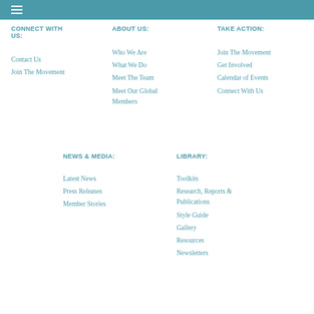CONNECT WITH US:
Contact Us
Join The Movement
ABOUT US:
Who We Are
What We Do
Meet The Team
Meet Our Global Members
TAKE ACTION:
Join The Movement
Get Involved
Calendar of Events
Connect With Us
NEWS & MEDIA:
Latest News
Press Releases
Member Stories
LIBRARY:
Toolkits
Research, Reports & Publications
Style Guide
Gallery
Resources
Newsletters